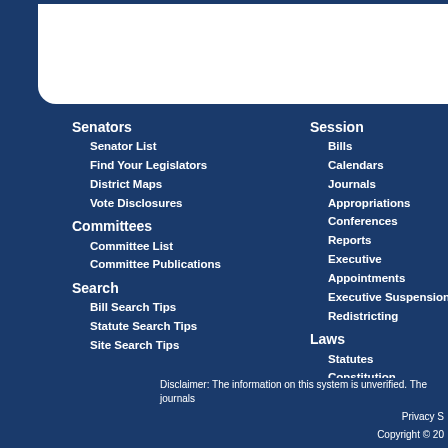Senators
Senator List
Find Your Legislators
District Maps
Vote Disclosures
Committees
Committee List
Committee Publications
Search
Bill Search Tips
Statute Search Tips
Site Search Tips
Session
Bills
Calendars
Journals
Appropriations
Conferences
Reports
Executive Appointments
Executive Suspensions
Redistricting
Laws
Statutes
Constitution
Laws of Florida
Order - Legistore
Media
Pre...
Pub...
Vid...
Top...
Vid...
Sch...
About
Em...
Vis...
Co...
Pag...
Disclaimer: The information on this system is unverified. The journals
Privacy S
Copyright © 20